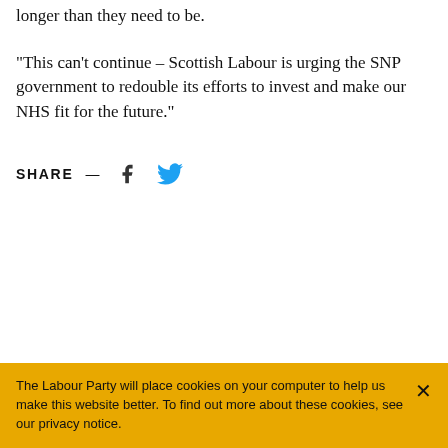longer than they need to be.
“This can’t continue – Scottish Labour is urging the SNP government to redouble its efforts to invest and make our NHS fit for the future.”
SHARE — [Facebook icon] [Twitter icon]
The Labour Party will place cookies on your computer to help us make this website better. To find out more about these cookies, see our privacy notice.